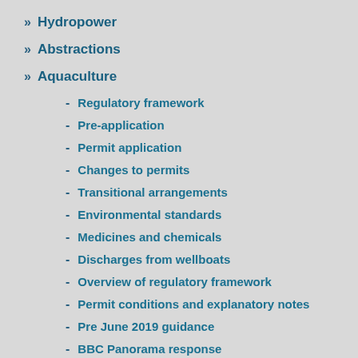» Hydropower
» Abstractions
» Aquaculture
- Regulatory framework
- Pre-application
- Permit application
- Changes to permits
- Transitional arrangements
- Environmental standards
- Medicines and chemicals
- Discharges from wellboats
- Overview of regulatory framework
- Permit conditions and explanatory notes
- Pre June 2019 guidance
- BBC Panorama response
- Finfish Aquaculture Advisory Panel
- Aquaculture workshop presentations September 2019
- Screening Modelling and Risk Identification Report